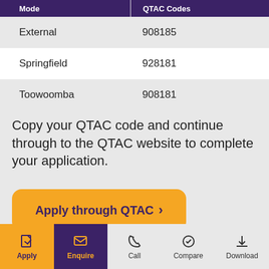| Mode | QTAC Codes |
| --- | --- |
| External | 908185 |
| Springfield | 928181 |
| Toowoomba | 908181 |
Copy your QTAC code and continue through to the QTAC website to complete your application.
Apply through QTAC >
Apply | Enquire | Call | Compare | Download